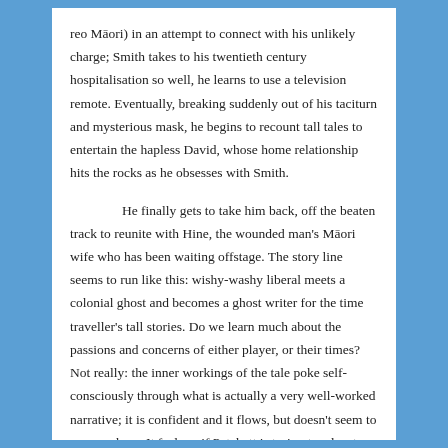reo Māori) in an attempt to connect with his unlikely charge; Smith takes to his twentieth century hospitalisation so well, he learns to use a television remote. Eventually, breaking suddenly out of his taciturn and mysterious mask, he begins to recount tall tales to entertain the hapless David, whose home relationship hits the rocks as he obsesses with Smith.

He finally gets to take him back, off the beaten track to reunite with Hine, the wounded man's Māori wife who has been waiting offstage. The story line seems to run like this: wishy-washy liberal meets a colonial ghost and becomes a ghost writer for the time traveller's tall stories. Do we learn much about the passions and concerns of either player, or their times? Not really: the inner workings of the tale poke self-consciously through what is actually a very well-worked narrative; it is confident and it flows, but doesn't seem to go anywhere. It feels as if Patchett is trying to educate the reader with his own discoveries; it was difficult to suspend the kind of disbelief this story